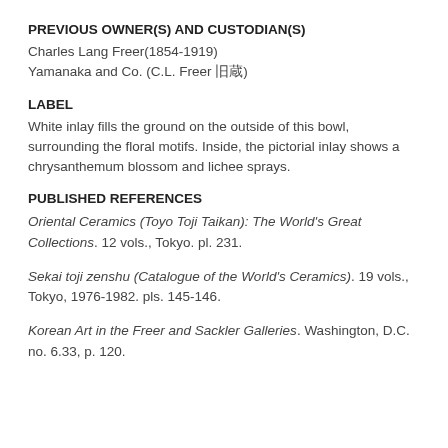PREVIOUS OWNER(S) AND CUSTODIAN(S)
Charles Lang Freer(1854-1919)
Yamanaka and Co. (C.L. Freer 旧蔵)
LABEL
White inlay fills the ground on the outside of this bowl, surrounding the floral motifs. Inside, the pictorial inlay shows a chrysanthemum blossom and lichee sprays.
PUBLISHED REFERENCES
Oriental Ceramics (Toyo Toji Taikan): The World's Great Collections. 12 vols., Tokyo. pl. 231.
Sekai toji zenshu (Catalogue of the World's Ceramics). 19 vols., Tokyo, 1976-1982. pls. 145-146.
Korean Art in the Freer and Sackler Galleries. Washington, D.C. no. 6.33, p. 120.